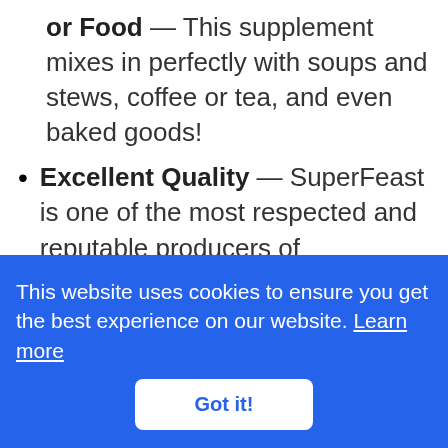or Food — This supplement mixes in perfectly with soups and stews, coffee or tea, and even baked goods!
Excellent Quality — SuperFeast is one of the most respected and reputable producers of Cordyceps Mushroom. I like knowing that I'm getting a potent, pure and uncontaminated product!
This website uses cookies to ensure you get the best experience on our website. Learn more
Got it!